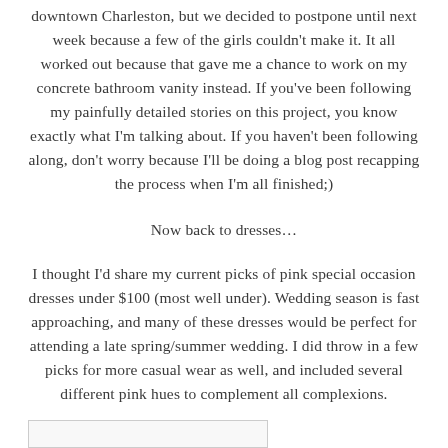downtown Charleston, but we decided to postpone until next week because a few of the girls couldn't make it. It all worked out because that gave me a chance to work on my concrete bathroom vanity instead. If you've been following my painfully detailed stories on this project, you know exactly what I'm talking about. If you haven't been following along, don't worry because I'll be doing a blog post recapping the process when I'm all finished;)
Now back to dresses…
I thought I'd share my current picks of pink special occasion dresses under $100 (most well under). Wedding season is fast approaching, and many of these dresses would be perfect for attending a late spring/summer wedding. I did throw in a few picks for more casual wear as well, and included several different pink hues to complement all complexions.
[Figure (other): Partial image stub at bottom of page]